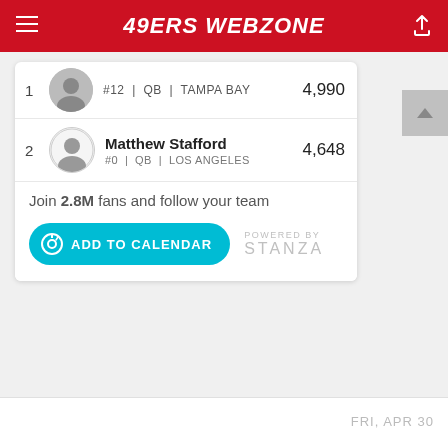49ERS WEBZONE
#12 | QB | TAMPA BAY  4,990
Matthew Stafford  4,648
#0 | QB | LOS ANGELES
Join 2.8M fans and follow your team
ADD TO CALENDAR
POWERED BY STANZA
FRI, APR 30